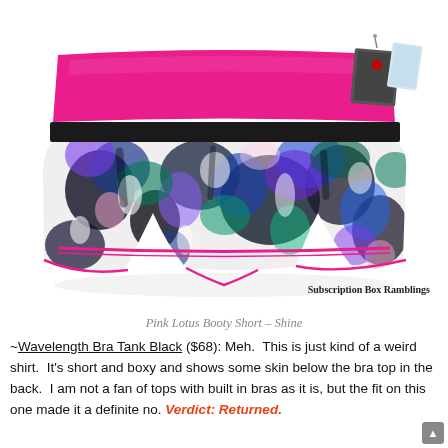[Figure (photo): Athletic running shorts with colorful abstract/tie-dye pattern in blues, purples, greens, black and white, with bright pink/magenta waistband and trim. Price tags visible hanging from waistband. White background.]
Pink Lotus Booty Short – Shine
~Wavelength Bra Tank Black ($68): Meh.  This is just kind of a weird shirt.  It's short and boxy and shows some skin below the bra top in the back.  I am not a fan of tops with built in bras as it is, but the fit on this one made it a definite no. Verdict: Returned.